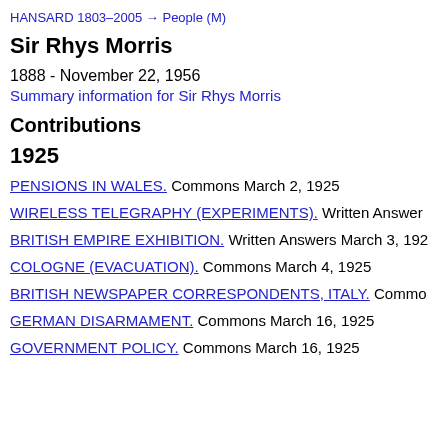HANSARD 1803–2005 → People (M)
Sir Rhys Morris
1888 - November 22, 1956
Summary information for Sir Rhys Morris
Contributions
1925
PENSIONS IN WALES. Commons March 2, 1925
WIRELESS TELEGRAPHY (EXPERIMENTS). Written Answer…
BRITISH EMPIRE EXHIBITION. Written Answers March 3, 192…
COLOGNE (EVACUATION). Commons March 4, 1925
BRITISH NEWSPAPER CORRESPONDENTS, ITALY. Commo…
GERMAN DISARMAMENT. Commons March 16, 1925
GOVERNMENT POLICY. Commons March 16, 1925